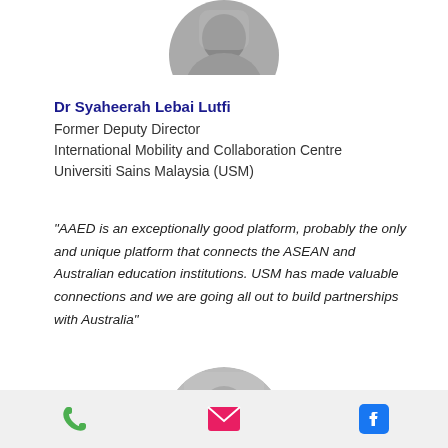[Figure (photo): Circular cropped grayscale portrait photo of Dr Syaheerah Lebai Lutfi, top of page]
Dr Syaheerah Lebai Lutfi
Former Deputy Director
International Mobility and Collaboration Centre
Universiti Sains Malaysia (USM)
"AAED is an exceptionally good platform, probably the only and unique platform that connects the ASEAN and Australian education institutions. USM has made valuable connections and we are going all out to build partnerships with Australia"
[Figure (illustration): Large dark blue closing double quotation marks decorative element]
[Figure (photo): Circular cropped grayscale portrait photo of another person, partially visible at bottom]
Phone, Email, and Facebook icons in footer bar